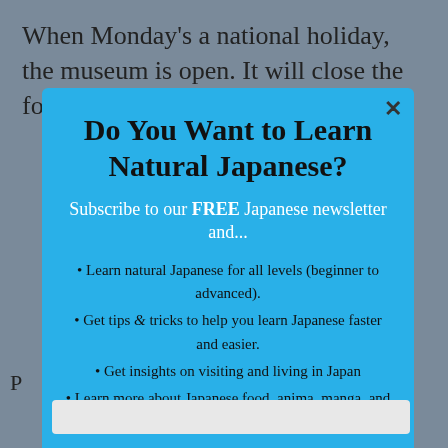When Monday’s a national holiday, the museum is open. It will close the following day instead
Do You Want to Learn Natural Japanese?
Subscribe to our FREE Japanese newsletter and...
Learn natural Japanese for all levels (beginner to advanced).
Get tips & tricks to help you learn Japanese faster and easier.
Get insights on visiting and living in Japan
Learn more about Japanese food, anima, manga, and more!